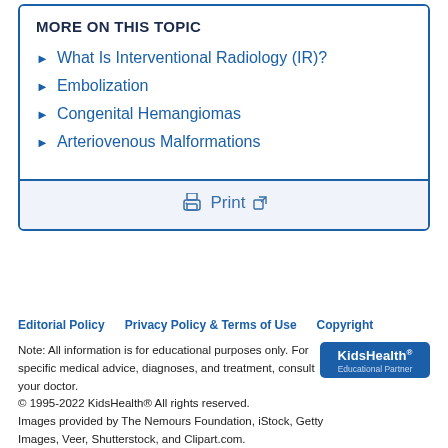MORE ON THIS TOPIC
What Is Interventional Radiology (IR)?
Embolization
Congenital Hemangiomas
Arteriovenous Malformations
Print
Editorial Policy   Privacy Policy & Terms of Use   Copyright
Note: All information is for educational purposes only. For specific medical advice, diagnoses, and treatment, consult your doctor.
© 1995-2022 KidsHealth® All rights reserved.
Images provided by The Nemours Foundation, iStock, Getty Images, Veer, Shutterstock, and Clipart.com.
[Figure (logo): KidsHealth Educational Partner logo]